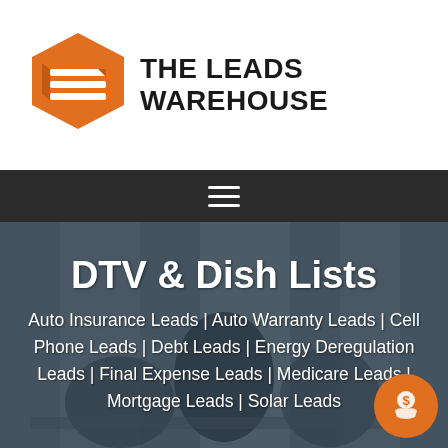[Figure (logo): The Leads Warehouse logo with orange hexagon icon and bold black text]
[Figure (other): Dark navigation bar with hamburger menu icon (three horizontal lines)]
DTV & Dish Lists
Auto Insurance Leads | Auto Warranty Leads | Cell Phone Leads | Debt Leads | Energy Deregulation Leads | Final Expense Leads | Medicare Leads | Mortgage Leads | Solar Leads